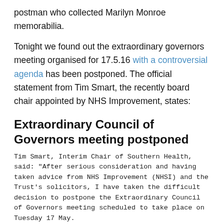postman who collected Marilyn Monroe memorabilia.
Tonight we found out the extraordinary governors meeting organised for 17.5.16 with a controversial agenda has been postponed. The official statement from Tim Smart, the recently board chair appointed by NHS Improvement, states:
Extraordinary Council of Governors meeting postponed
Tim Smart, Interim Chair of Southern Health, said: "After serious consideration and having taken advice from NHS Improvement (NHSI) and the Trust's solicitors, I have taken the difficult decision to postpone the Extraordinary Council of Governors meeting scheduled to take place on Tuesday 17 May.
"It has been brought to my attention that the resolutions put forward by Governors for discussion at the meeting do not comply with NHSI guidance, and any vote would not be legally robust.